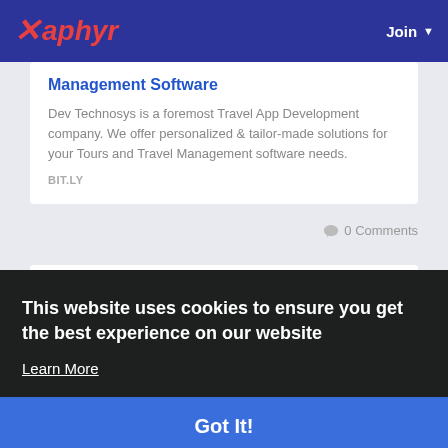Xaphyr | Join
Management Software
Dev Technosys is a foremost Travel App Development company. We offer personalized & tailor-made solutions for your Tours and Travel Management software needs.
BIT.LY
0 Comments
Sponsored
This website uses cookies to ensure you get the best experience on our website
Learn More
Got It!